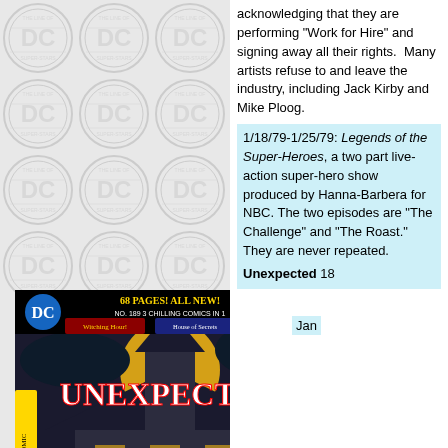[Figure (illustration): DC Comics logo grid background with repeated DC Super-Stars circular logos in gray]
[Figure (photo): Cover of DC Dollar Comic 'Unexpected' No. 189, 68 pages all new, 3 chilling comics in 1, featuring The Haunted Skyscraper, February 1979, $1.00, with Witching Hour and House of Secrets logos]
acknowledging that they are performing "Work for Hire" and signing away all their rights.  Many artists refuse to and leave the industry, including Jack Kirby and Mike Ploog.
1/18/79-1/25/79: Legends of the Super-Heroes, a two part live-action super-hero show produced by Hanna-Barbera for NBC. The two episodes are "The Challenge" and "The Roast." They are never repeated.
Unexpected 189